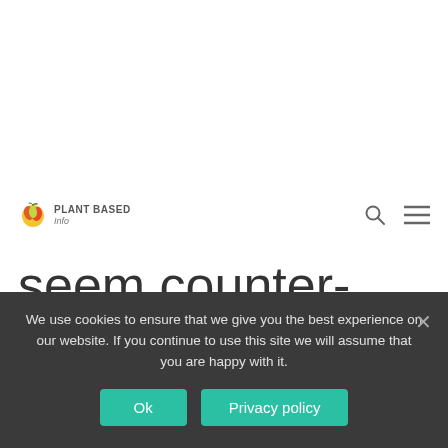PLANT BASED Info
seem counter-intuitive, in fact it makes sense. When we relentlessly push ourselves towards a goal
We use cookies to ensure that we give you the best experience on our website. If you continue to use this site we will assume that you are happy with it.
Ok
Privacy policy